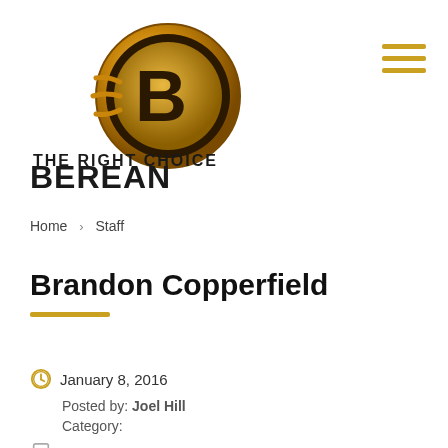[Figure (logo): The Right Choice Berean Employment Screening Solutions logo with golden circular B icon and bold text]
Home › Staff
Brandon Copperfield
January 8, 2016
Posted by: Joel Hill
Category:
No Comments